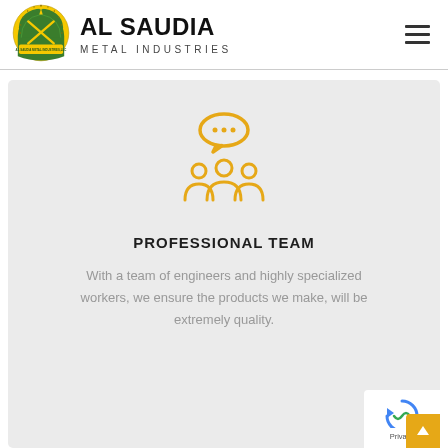[Figure (logo): Al Saudia Metal Industries LLC logo — circular green and yellow emblem with crossed tools]
AL SAUDIA METAL INDUSTRIES
[Figure (illustration): Orange icon of three people with a speech bubble containing three dots above them — representing a professional team]
PROFESSIONAL TEAM
With a team of engineers and highly specialized workers, we ensure the products we make, will be extremely quality.